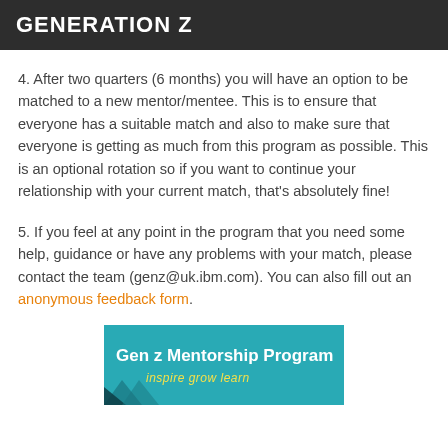GENERATION Z
4. After two quarters (6 months) you will have an option to be matched to a new mentor/mentee. This is to ensure that everyone has a suitable match and also to make sure that everyone is getting as much from this program as possible. This is an optional rotation so if you want to continue your relationship with your current match, that's absolutely fine!
5. If you feel at any point in the program that you need some help, guidance or have any problems with your match, please contact the team (genz@uk.ibm.com). You can also fill out an anonymous feedback form.
[Figure (logo): Gen Z Mentorship Program logo with teal background, white bold title text 'Gen z Mentorship Program', yellow italic subtitle 'inspire grow learn', and dark chevron shapes at bottom left.]